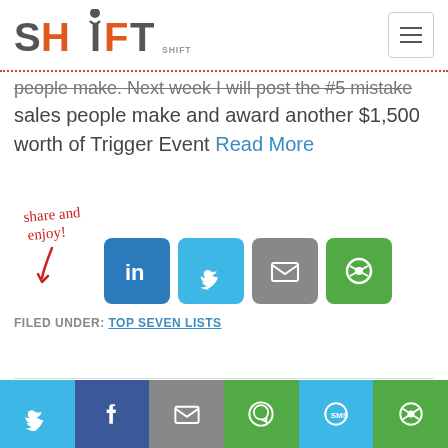[Figure (logo): SHIFT Selling Inc. logo with orange and gray text and hamburger menu icon]
people make. Next week I will post the #5 mistake sales people make and award another $1,500 worth of Trigger Event Read More
[Figure (infographic): Share and enjoy! handwritten text with arrow pointing to social share buttons: LinkedIn, Twitter, Email, Green share icon]
FILED UNDER: TOP SEVEN LISTS
[Figure (infographic): Bottom social sharing bar with Twitter, Facebook, Email, WhatsApp, SMS, and green share icon buttons]